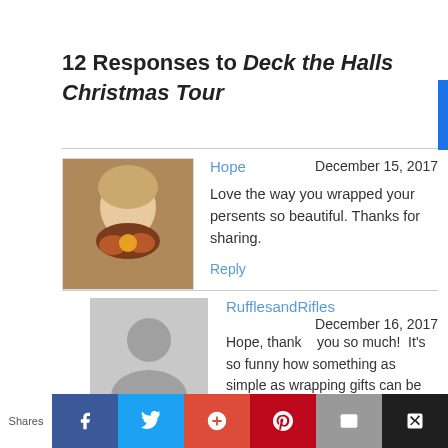12 Responses to Deck the Halls Christmas Tour
Hope
December 15, 2017
Love the way you wrapped your persents so beautiful. Thanks for sharing.
Reply
RufflesandRifles
December 16, 2017
Hope, thank you so much! It's so funny how something as simple as wrapping gifts can be another creative outlet.
Shares | Facebook | Twitter | Google+ | Pinterest | Email | Flipboard